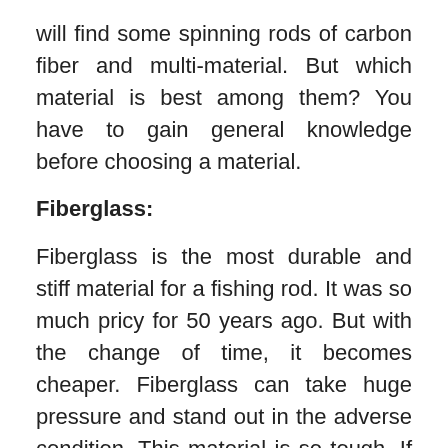will find some spinning rods of carbon fiber and multi-material. But which material is best among them? You have to gain general knowledge before choosing a material.
Fiberglass:
Fiberglass is the most durable and stiff material for a fishing rod. It was so much pricy for 50 years ago. But with the change of time, it becomes cheaper. Fiberglass can take huge pressure and stand out in the adverse condition. This material is so tough. If you need to meet any challenging situation, then fiberglass is the best option for you.
Graphite:
A confusion always there that carbon fiber and